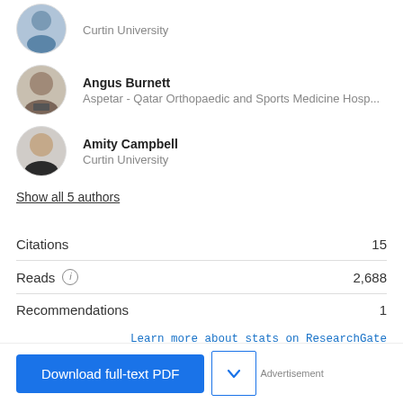[Figure (photo): Partial author avatar at top (cropped), affiliation: Curtin University]
Curtin University
[Figure (photo): Author photo: Angus Burnett]
Angus Burnett
Aspetar - Qatar Orthopaedic and Sports Medicine Hosp...
[Figure (photo): Author photo: Amity Campbell]
Amity Campbell
Curtin University
Show all 5 authors
| Metric | Value |
| --- | --- |
| Citations | 15 |
| Reads | 2,688 |
| Recommendations | 1 |
Learn more about stats on ResearchGate
Download full-text PDF
Advertisement